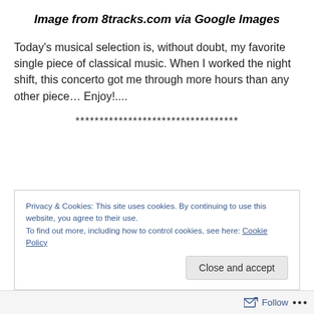Image from 8tracks.com via Google Images
Today's musical selection is, without doubt, my favorite single piece of classical music. When I worked the night shift, this concerto got me through more hours than any other piece… Enjoy!....
**********************************
Privacy & Cookies: This site uses cookies. By continuing to use this website, you agree to their use.
To find out more, including how to control cookies, see here: Cookie Policy
Close and accept
Follow ...